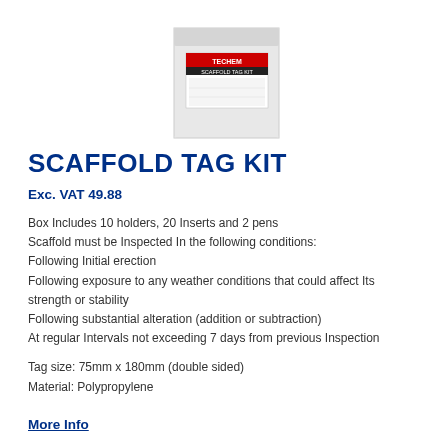[Figure (photo): Product image of Scaffold Tag Kit box, white/grey box with red and black label, partially visible at top of page]
SCAFFOLD TAG KIT
Exc. VAT 49.88
Box Includes 10 holders, 20 Inserts and 2 pens
Scaffold must be Inspected In the following conditions:
Following Initial erection
Following exposure to any weather conditions that could affect Its strength or stability
Following substantial alteration (addition or subtraction)
At regular Intervals not exceeding 7 days from previous Inspection
Tag size: 75mm x 180mm (double sided)
Material: Polypropylene
More Info